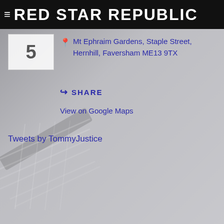≡ RED STAR REPUBLIC
[Figure (photo): Grayscale background photo of a person playing guitar, muted grey tones]
Mt Ephraim Gardens, Staple Street, Hernhill, Faversham ME13 9TX
SHARE
View on Google Maps
Tweets by TommyJustice